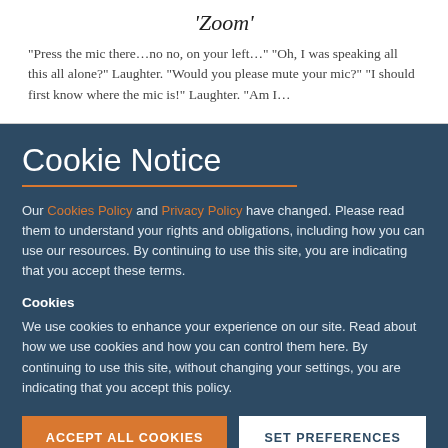'Zoom'
“Press the mic there…no no, on your left…” “Oh, I was speaking all this all alone?” Laughter. “Would you please mute your mic?” “I should first know where the mic is!” Laughter. “Am I…
Cookie Notice
Our Cookies Policy and Privacy Policy have changed. Please read them to understand your rights and obligations, including how you can use our resources. By continuing to use this site, you are indicating that you accept these terms.
Cookies
We use cookies to enhance your experience on our site. Read about how we use cookies and how you can control them here. By continuing to use this site, without changing your settings, you are indicating that you accept this policy.
ACCEPT ALL COOKIES
SET PREFERENCES